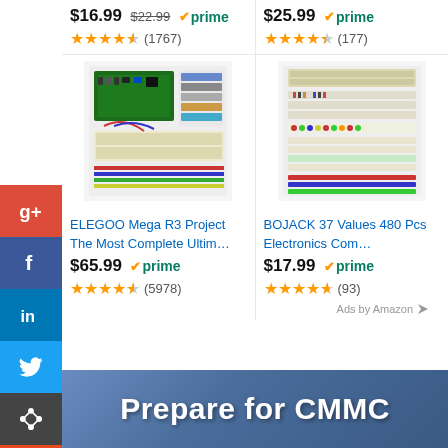$16.99 $22.99 prime (1767)
$25.99 prime (177)
[Figure (photo): ELEGOO Mega R3 project electronics kit product photo showing numerous components]
[Figure (photo): BOJACK 37 Values 480 Pcs electronics components kit product photo]
ELEGOO Mega R3 Project The Most Complete Ultim…
BOJACK 37 Values 480 Pcs Electronics Com…
$65.99 prime (5978)
$17.99 prime (93)
Ads by Amazon
[Figure (screenshot): Social media sharing buttons sidebar: Google+, Facebook, LinkedIn, Twitter, share, StumbleUpon]
[Figure (illustration): Prepare for CMMC banner advertisement with blue gradient background]